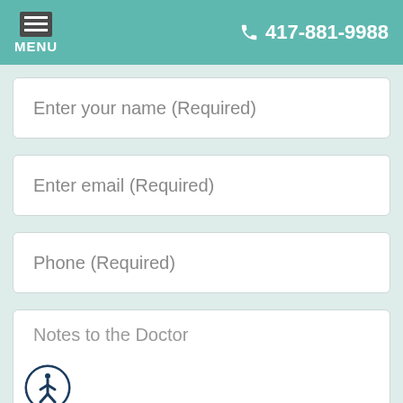MENU  417-881-9988
Enter your name (Required)
Enter email (Required)
Phone (Required)
Notes to the Doctor